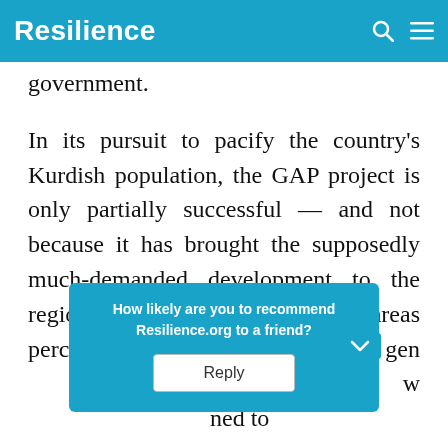Resilience
government.
In its pursuit to pacify the country's Kurdish population, the GAP project is only partially successful — and not because it has brought the supposedly much-demanded development to the region. Many locals in the affected areas perceive the GAP project in gen[...] icular, as a w[...] ned to
[Figure (screenshot): A popup widget overlay with teal background asking 'How likely are you to recommend Resilience.org to a friend?' with a Reply button]